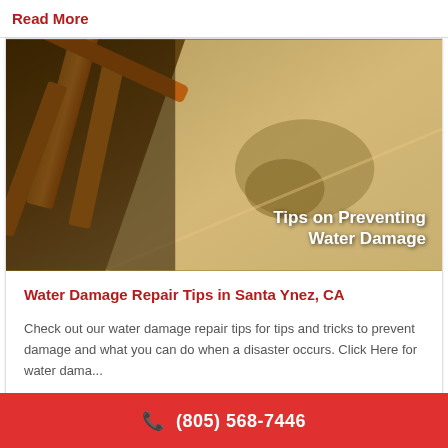Read More
[Figure (photo): Photo of water-damaged carpet on stairs with wooden banister/railing visible on the left. Text overlay reads 'Tips on Preventing Water Damage']
Water Damage Repair Tips in Santa Ynez, CA
Check out our water damage repair tips for tips and tricks to prevent damage and what you can do when a disaster occurs. Click Here for water dama...
(805) 568-7446